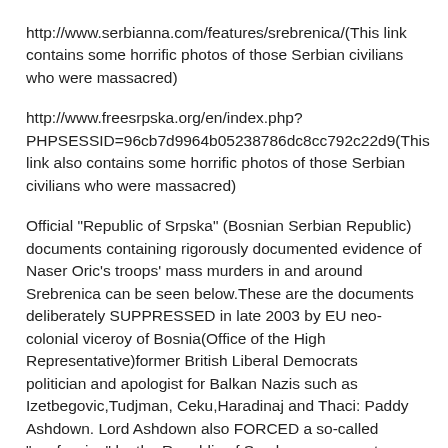http://www.serbianna.com/features/srebrenica/(This link contains some horrific photos of those Serbian civilians who were massacred)
http://www.freesrpska.org/en/index.php?PHPSESSID=96cb7d9964b05238786dc8cc792c22d9(This link also contains some horrific photos of those Serbian civilians who were massacred)
Official "Republic of Srpska" (Bosnian Serbian Republic) documents containing rigorously documented evidence of Naser Oric's troops' mass murders in and around Srebrenica can be seen below.These are the documents deliberately SUPPRESSED in late 2003 by EU neo-colonial viceroy of Bosnia(Office of the High Representative)former British Liberal Democrats politician and apologist for Balkan Nazis such as Izetbegovic,Tudjman, Ceku,Haradinaj and Thaci: Paddy Ashdown. Lord Ashdown also FORCED a so-called "confession" by the Republic of Srpska government - threatening to FIRE the Prime Minister and entire cabinet - if they did not issue a bogus report which supported the